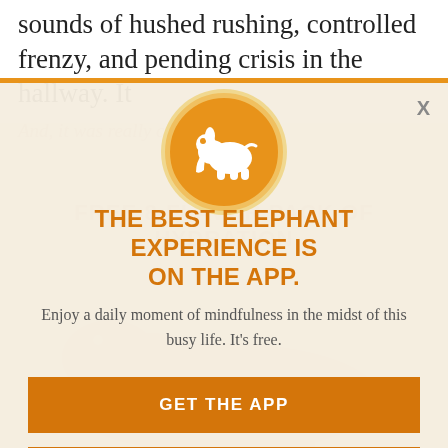sounds of hushed rushing, controlled frenzy, and pending crisis in the hallway. It
was bad. It was looming. It was palpable. And, it was really close by.
[Figure (logo): Orange circle with white elephant logo icon]
THE BEST ELEPHANT EXPERIENCE IS ON THE APP.
Enjoy a daily moment of mindfulness in the midst of this busy life. It's free.
GET THE APP
OPEN IN APP